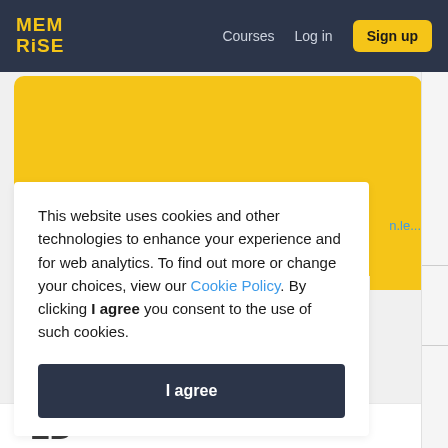MEM RISE — Courses  Log in  Sign up
[Figure (screenshot): Yellow banner background area for Memrise course content]
This website uses cookies and other technologies to enhance your experience and for web analytics. To find out more or change your choices, view our Cookie Policy. By clicking I agree you consent to the use of such cookies.
I agree